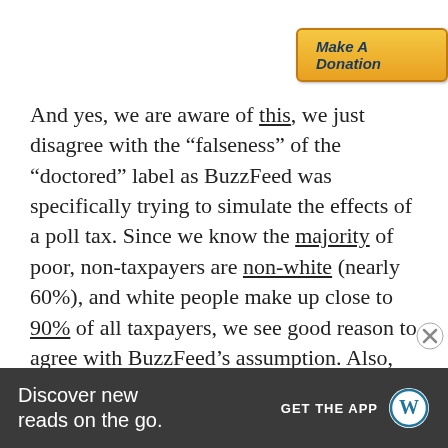[Figure (other): Make A Donation button with orange gradient background and dark blue italic bold text]
And yes, we are aware of this, we just disagree with the “falseness” of the “doctored” label as BuzzFeed was specifically trying to simulate the effects of a poll tax. Since we know the majority of poor, non-taxpayers are non-white (nearly 60%), and white people make up close to 90% of all taxpayers, we see good reason to agree with BuzzFeed’s assumption. Also, nearly 50% of nonvoters are
Advertisements
[Figure (screenshot): WordPress app advertisement banner: 'Discover new reads on the go.' with GET THE APP button and WordPress logo on dark grey background]